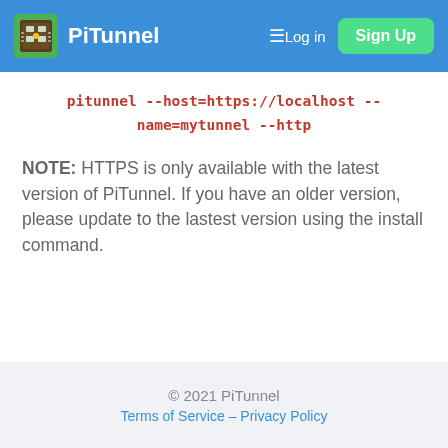PiTunnel ≡  Log in  Sign Up
pitunnel --host=https://localhost --name=mytunnel --http
NOTE: HTTPS is only available with the latest version of PiTunnel. If you have an older version, please update to the lastest version using the install command.
Next: Access VNC Remote Desktop
© 2021 PiTunnel
Terms of Service – Privacy Policy